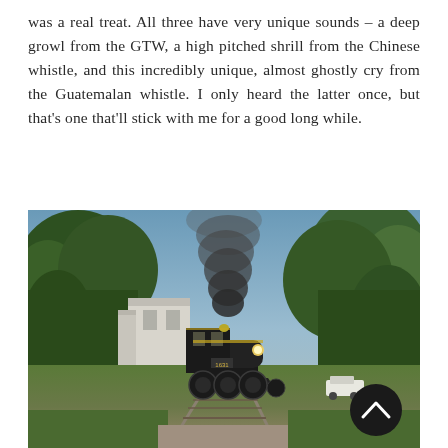was a real treat. All three have very unique sounds – a deep growl from the GTW, a high pitched shrill from the Chinese whistle, and this incredibly unique, almost ghostly cry from the Guatemalan whistle. I only heard the latter once, but that's one that'll stick with me for a good long while.
[Figure (photo): A black steam locomotive approaching on the tracks with a large plume of dark smoke rising from its stack. Green trees frame both sides, a white industrial building is visible in the background on the left, and grassy terrain lines the tracks in the foreground. A circular black button with an upward chevron arrow is overlaid in the lower right corner of the photo.]